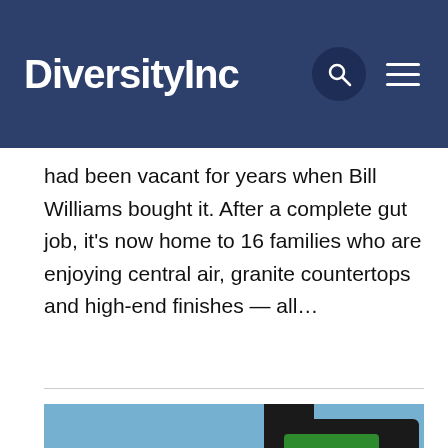DiversityInc
had been vacant for years when Bill Williams bought it. After a complete gut job, it's now home to 16 families who are enjoying central air, granite countertops and high-end finishes — all…
[Figure (photo): TD Bank exterior sign and building in background against blue sky]